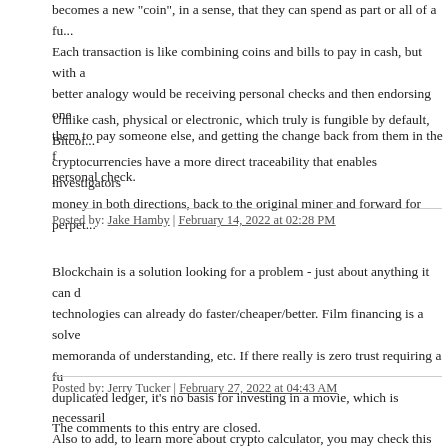becomes a new "coin", in a sense, that they can spend as part or all of a fu... Each transaction is like combining coins and bills to pay in cash, but with a better analogy would be receiving personal checks and then endorsing one them to pay someone else, and getting the change back from them in the f personal check.
Unlike cash, physical or electronic, which truly is fungible by default, Bitcoi... cryptocurrencies have a more direct traceability that enables investigators money in both directions, back to the original miner and forward for perpet...
Posted by: Jake Hamby | February 14, 2022 at 02:28 PM
Blockchain is a solution looking for a problem - just about anything it can d technologies can already do faster/cheaper/better. Film financing is a solve memoranda of understanding, etc. If there really is zero trust requiring a fu duplicated ledger, it's no basis for investing in a movie, which is necessaril Also to add, to learn more about crypto calculator, you may check this tool https://tools.dexfolio.org/crypto-calculator/
Posted by: Jerry Tucker | February 27, 2022 at 04:43 AM
The comments to this entry are closed.